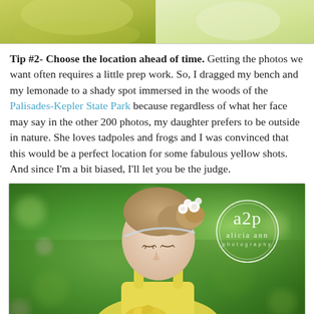[Figure (photo): Top portion of a photo showing a child in a yellow dress against a soft background, cropped at top of page]
Tip #2- Choose the location ahead of time. Getting the photos we want often requires a little prep work. So, I dragged my bench and my lemonade to a shady spot immersed in the woods of the Palisades-Kepler State Park because regardless of what her face may say in the other 200 photos, my daughter prefers to be outside in nature. She loves tadpoles and frogs and I was convinced that this would be a perfect location for some fabulous yellow shots. And since I'm a bit biased, I'll let you be the judge.
[Figure (photo): Photo of a young girl with blonde hair in an updo with white flowers, wearing a yellow dress, looking down at yellow flowers, with green bokeh background. Watermark shows 'a2p alicia ann photography' in a circle.]